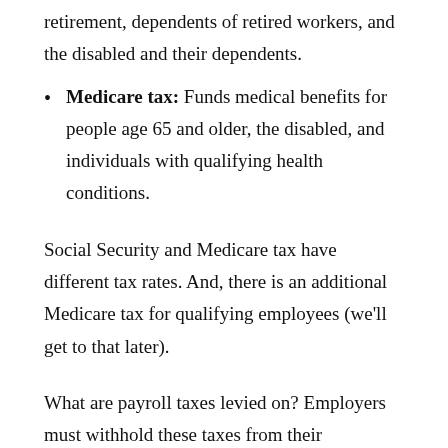retirement, dependents of retired workers, and the disabled and their dependents.
Medicare tax: Funds medical benefits for people age 65 and older, the disabled, and individuals with qualifying health conditions.
Social Security and Medicare tax have different tax rates. And, there is an additional Medicare tax for qualifying employees (we'll get to that later).
What are payroll taxes levied on? Employers must withhold these taxes from their employees' wages. But, do not withhold the entire amount of each tax from the employee. Employers share the responsibility of